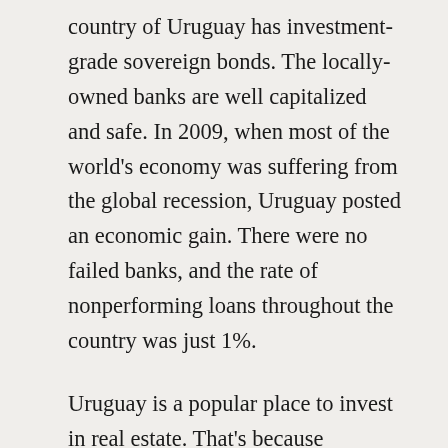country of Uruguay has investment-grade sovereign bonds. The locally-owned banks are well capitalized and safe. In 2009, when most of the world's economy was suffering from the global recession, Uruguay posted an economic gain. There were no failed banks, and the rate of nonperforming loans throughout the country was just 1%.
Uruguay is a popular place to invest in real estate. That's because foreigners can buy, own, and sell property with the same rights and protections as a Uruguayan citizen. Uruguay's government welcomes foreign investment by individuals, the system for registering property